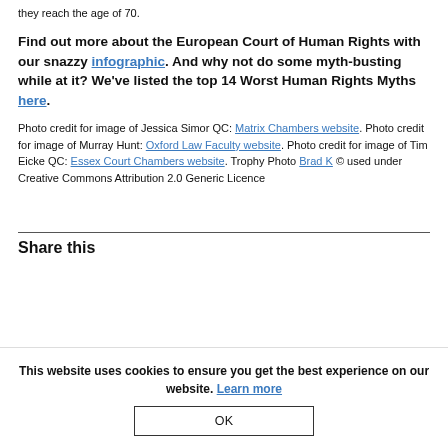they reach the age of 70.
Find out more about the European Court of Human Rights with our snazzy infographic. And why not do some myth-busting while at it? We've listed the top 14 Worst Human Rights Myths here.
Photo credit for image of Jessica Simor QC: Matrix Chambers website. Photo credit for image of Murray Hunt: Oxford Law Faculty website. Photo credit for image of Tim Eicke QC: Essex Court Chambers website. Trophy Photo Brad K © used under Creative Commons Attribution 2.0 Generic Licence
Share this
This website uses cookies to ensure you get the best experience on our website. Learn more
OK